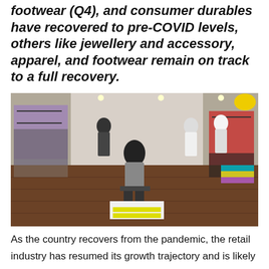footwear (Q4), and consumer durables have recovered to pre-COVID levels, others like jewellery and accessory, apparel, and footwear remain on track to a full recovery.
[Figure (photo): Interior of a clothing retail store with mannequins dressed in suits and smart attire, clothing racks with colorful garments on both sides, and a wooden floor.]
As the country recovers from the pandemic, the retail industry has resumed its growth trajectory and is likely to witness 10 per cent annual